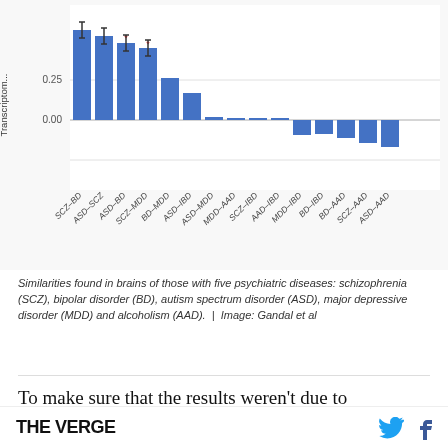[Figure (bar-chart): Transcriptomic similarity by disease pair]
Similarities found in brains of those with five psychiatric diseases: schizophrenia (SCZ), bipolar disorder (BD), autism spectrum disorder (ASD), major depressive disorder (MDD) and alcoholism (AAD).  |  Image: Gandal et al
To make sure that the results weren't due to medication, the scientists compared these brains with the brains of non-human primates who had
THE VERGE